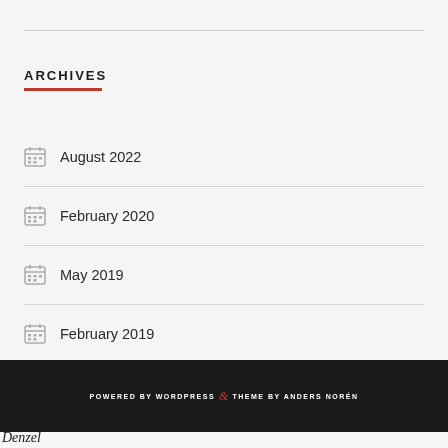ARCHIVES
August 2022
February 2020
May 2019
February 2019
POWERED BY WORDPRESS & THEME BY ANDERS NORÉN
Denzel